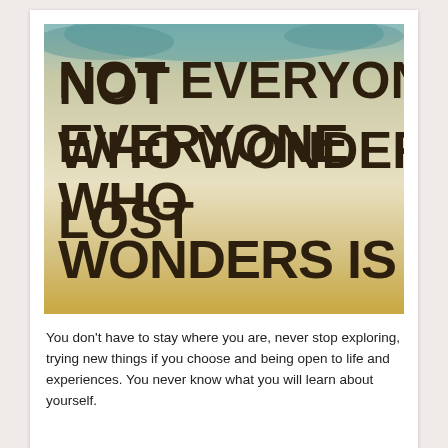[Figure (illustration): A motivational quote poster with textured background (teal/beige/golden gradient). Large bold dark brown text reads: NOT EVERYONE WHO WONDERS IS LOST]
You don't have to stay where you are, never stop exploring, trying new things if you choose and being open to life and experiences. You never know what you will learn about yourself.